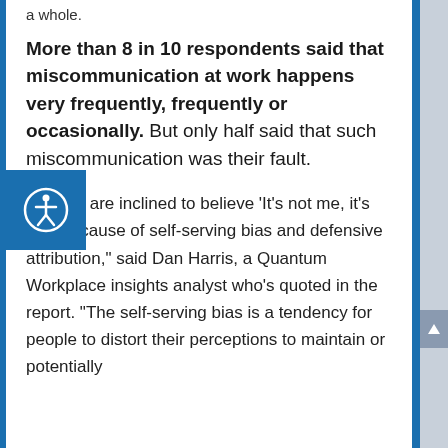a whole.
More than 8 in 10 respondents said that miscommunication at work happens very frequently, frequently or occasionally. But only half said that such miscommunication was their fault.
“People are inclined to believe ‘It’s not me, it’s you’ because of self-serving bias and defensive attribution,” said Dan Harris, a Quantum Workplace insights analyst who’s quoted in the report. “The self-serving bias is a tendency for people to distort their perceptions to maintain or potentially